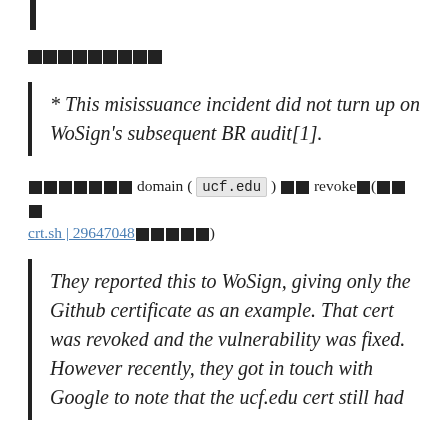[redacted header text]
* This misissuance incident did not turn up on WoSign's subsequent BR audit[1].
[redacted] domain ( ucf.edu ) [redacted] revoke[redacted]([redacted] crt.sh | 29647048[redacted])
They reported this to WoSign, giving only the Github certificate as an example. That cert was revoked and the vulnerability was fixed. However recently, they got in touch with Google to note that the ucf.edu cert still had